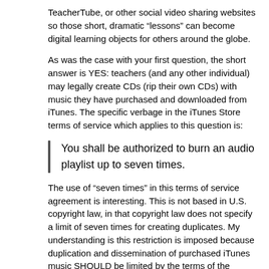TeacherTube, or other social video sharing websites so those short, dramatic “lessons” can become digital learning objects for others around the globe.
As was the case with your first question, the short answer is YES: teachers (and any other individual) may legally create CDs (rip their own CDs) with music they have purchased and downloaded from iTunes. The specific verbage in the iTunes Store terms of service which applies to this question is:
You shall be authorized to burn an audio playlist up to seven times.
The use of “seven times” in this terms of service agreement is interesting. This is not based in U.S. copyright law, in that copyright law does not specify a limit of seven times for creating duplicates. My understanding is this restriction is imposed because duplication and dissemination of purchased iTunes music SHOULD be limited by the terms of the service agreement.